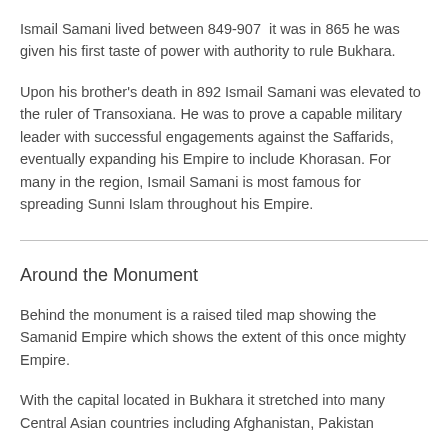Ismail Samani lived between 849-907  it was in 865 he was given his first taste of power with authority to rule Bukhara.
Upon his brother's death in 892 Ismail Samani was elevated to the ruler of Transoxiana. He was to prove a capable military leader with successful engagements against the Saffarids, eventually expanding his Empire to include Khorasan. For many in the region, Ismail Samani is most famous for spreading Sunni Islam throughout his Empire.
Around the Monument
Behind the monument is a raised tiled map showing the Samanid Empire which shows the extent of this once mighty Empire.
With the capital located in Bukhara it stretched into many Central Asian countries including Afghanistan, Pakistan